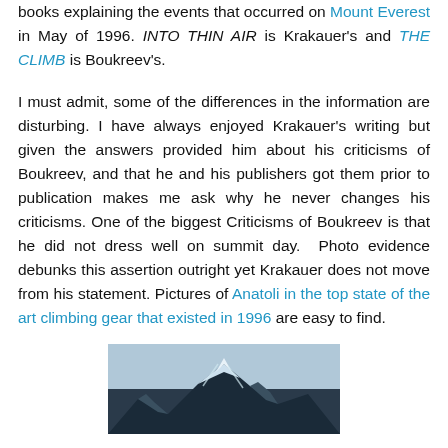books explaining the events that occurred on Mount Everest in May of 1996. INTO THIN AIR is Krakauer's and THE CLIMB is Boukreev's.
I must admit, some of the differences in the information are disturbing. I have always enjoyed Krakauer's writing but given the answers provided him about his criticisms of Boukreev, and that he and his publishers got them prior to publication makes me ask why he never changes his criticisms. One of the biggest Criticisms of Boukreev is that he did not dress well on summit day.  Photo evidence debunks this assertion outright yet Krakauer does not move from his statement. Pictures of Anatoli in the top state of the art climbing gear that existed in 1996 are easy to find.
[Figure (photo): Partial photo of a mountain (likely Mount Everest) with snowy peak visible at bottom of page, shown in blue-grey tones.]